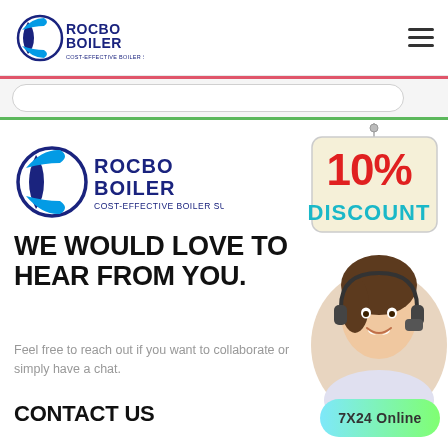ROCBO BOILER — Cost-Effective Boiler Supplier (header logo + hamburger menu)
[Figure (logo): Rocbo Boiler logo in page header, with hamburger menu icon on right]
[Figure (other): Search bar area with red top border and green bottom border]
[Figure (logo): Rocbo Boiler main logo — COST-EFFECTIVE BOILER SUPPLIER]
[Figure (illustration): 10% DISCOUNT hanging sign badge, cream background with red 10% and teal DISCOUNT text]
WE WOULD LOVE TO HEAR FROM YOU.
Feel free to reach out if you want to collaborate or simply have a chat.
[Figure (photo): Customer service representative woman wearing headset, smiling, circular crop]
CONTACT US
[Figure (other): 7X24 Online badge/button in blue-green gradient]